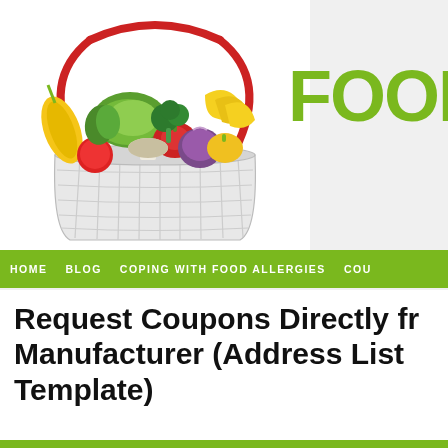[Figure (photo): A wire grocery basket filled with colorful fresh vegetables and fruits including corn, tomatoes, lettuce, red peppers, mushrooms, onions, broccoli, bananas, and other produce, photographed on a white background.]
FOOD
HOME   BLOG   COPING WITH FOOD ALLERGIES   COU
Request Coupons Directly from Manufacturer (Address List Template)